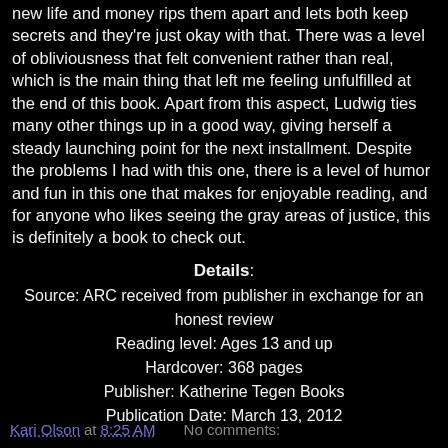new life and money rips them apart and lets both keep secrets and they're just okay with that. There was a level of obliviousness that felt convenient rather than real, which is the main thing that left me feeling unfulfilled at the end of this book. Apart from this aspect, Ludwig ties many other things up in a good way, giving herself a steady launching point for the next installment. Despite the problems I had with this one, there is a level of humor and fun in this one that makes for enjoyable reading, and for anyone who likes seeing the gray areas of justice, this is definitely a book to check out.
Details:
Source: ARC received from publisher in exchange for an honest review
Reading level: Ages 13 and up
Hardcover: 368 pages
Publisher: Katherine Tegen Books
Publication Date: March 13, 2012
Kari Olson at 8:25 AM    No comments: